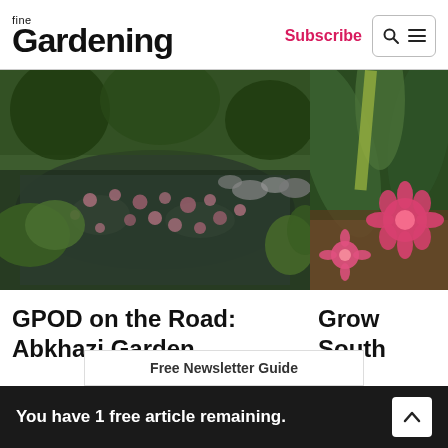fine Gardening
Subscribe
[Figure (photo): Garden pond with water lily pads and surrounding lush green plants and rocks]
GPOD on the Road: Abkhazi Garden
[Figure (photo): Close-up of bright pink flowers among green succulent leaves]
Grow South
You have 1 free article remaining.
Guide